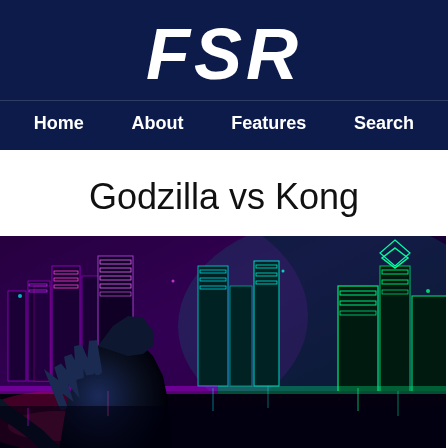FSR
Home   About   Features   Search
Godzilla vs Kong
[Figure (photo): Movie still from Godzilla vs Kong showing a large dark monster (Godzilla) in the foreground against a neon-lit futuristic city skyline at night with purple, pink, teal and green neon lights on skyscrapers.]